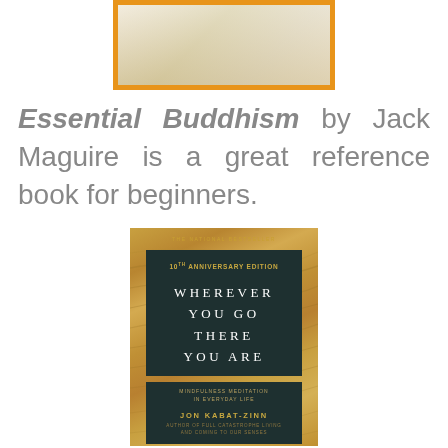[Figure (photo): Partial view of a book cover at the top of the page, with an orange/amber border, showing a light-colored background — partially cropped.]
Essential Buddhism by Jack Maguire is a great reference book for beginners.
[Figure (photo): Book cover of 'Wherever You Go There You Are: Mindfulness Meditation in Everyday Life' by Jon Kabat-Zinn, 10th Anniversary Edition. The cover features a sandy desert dune background in warm golden tones, with dark teal/green bands containing the title in white spaced serif letters and the author's name in gold.]